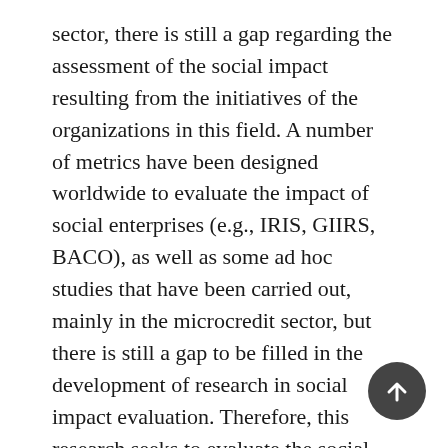sector, there is still a gap regarding the assessment of the social impact resulting from the initiatives of the organizations in this field. A number of metrics have been designed worldwide to evaluate the impact of social enterprises (e.g., IRIS, GIIRS, BACO), as well as some ad hoc studies that have been carried out, mainly in the microcredit sector, but there is still a gap to be filled in the development of research in social impact evaluation. Therefore, this research seeks to evaluate the social impact of two social enterprises (Terra Nova and Vivenda) in the area of housing in Brazil. To evaluate these impacts and their dimensions, we conducted an exploratory research, through three focus groups, thirty in-depth interviews and a survey with beneficiaries of both organizations. The results allowed us to evaluate how the two organizations were able to create a deep social impact in the populations served. Terra Nova has a more collective perspective